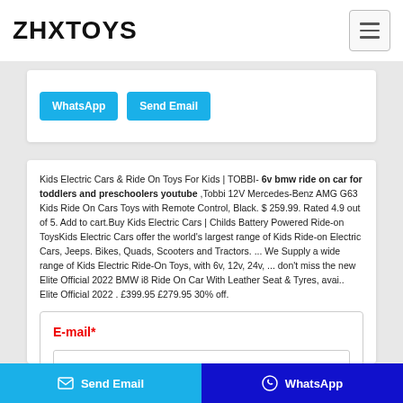ZHXTOYS
[Figure (screenshot): Hamburger menu icon button in top right corner]
WhatsApp   Send Email
Kids Electric Cars & Ride On Toys For Kids | TOBBI- 6v bmw ride on car for toddlers and preschoolers youtube ,Tobbi 12V Mercedes-Benz AMG G63 Kids Ride On Cars Toys with Remote Control, Black. $ 259.99. Rated 4.9 out of 5. Add to cart.Buy Kids Electric Cars | Childs Battery Powered Ride-on ToysKids Electric Cars offer the world's largest range of Kids Ride-on Electric Cars, Jeeps. Bikes, Quads, Scooters and Tractors. ... We Supply a wide range of Kids Electric Ride-On Toys, with 6v, 12v, 24v, ... don't miss the new Elite Official 2022 BMW i8 Ride On Car With Leather Seat & Tyres, avai.. Elite Official 2022 . £399.95 £279.95 30% off.
E-mail*
Send Email   WhatsApp